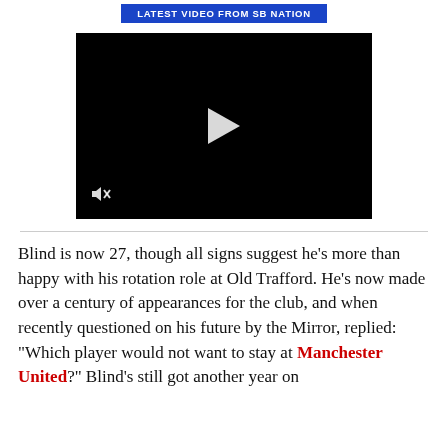LATEST VIDEO FROM SB NATION
[Figure (screenshot): Black video player with white play button triangle in center and mute icon in bottom left corner]
Blind is now 27, though all signs suggest he's more than happy with his rotation role at Old Trafford. He's now made over a century of appearances for the club, and when recently questioned on his future by the Mirror, replied: "Which player would not want to stay at Manchester United?" Blind's still got another year on